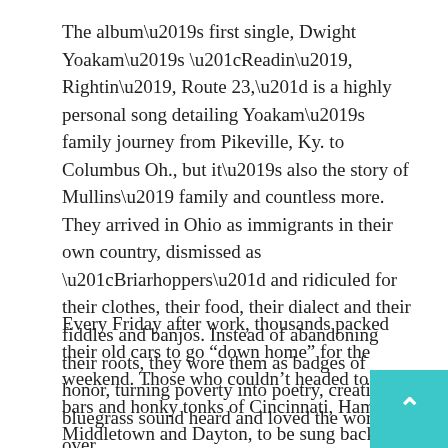The album’s first single, Dwight Yoakam’s “Readin’, Rightin’, Route 23,” is a highly personal song detailing Yoakam’s family journey from Pikeville, Ky. to Columbus Oh., but it’s also the story of Mullins’ family and countless more. They arrived in Ohio as immigrants in their own country, dismissed as “Briarhoppers” and ridiculed for their clothes, their food, their dialect and their fiddles and banjos. Instead of abandoning their roots, they wore them as badges of honor, turning poverty into poetry, creating a bluegrass sound heard and loved the world over.
Every Friday after work, thousands packed their old cars to go “down home” for the weekend. Those who couldn’t headed to the bars and honky tonks of Cincinnati, Hamilton, Middletown and Dayton, to be sung back home by bluegrass bands performing on makeshift stages through MacGyvered sound systems. Playing five sets a night for drunken, brawling, homesick Kentuckians, the bands their music became tougher and louder, blazing through the